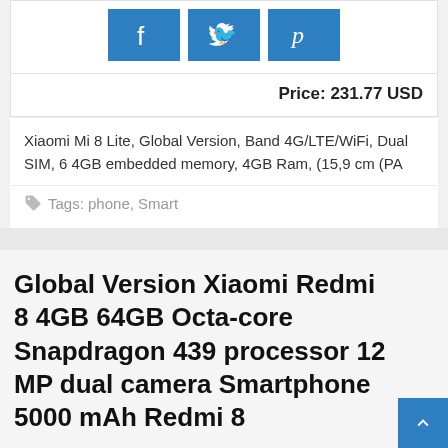[Figure (other): Social sharing buttons: Facebook, Twitter, Pinterest in blue]
Price: 231.77 USD
Xiaomi Mi 8 Lite, Global Version, Band 4G/LTE/WiFi, Dual SIM, 6 4GB embedded memory, 4GB Ram, (15,9 cm (PA
Tags: phone, Smart
Global Version Xiaomi Redmi 8 4GB 64GB Octa-core Snapdragon 439 processor 12 MP dual camera Smartphone 5000 mAh Redmi 8